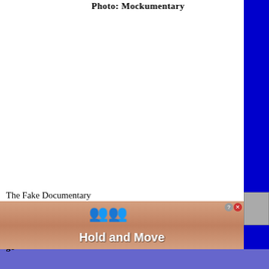Photo: Mockumentary
The Fake Documentary
Everybody has heard of the term cult classic, but there is a whole genre that could be considered a cult classic. The mockumentary ge... do...
[Figure (screenshot): Advertisement banner showing 'Hold and Move' with cartoon figures and close/help buttons]